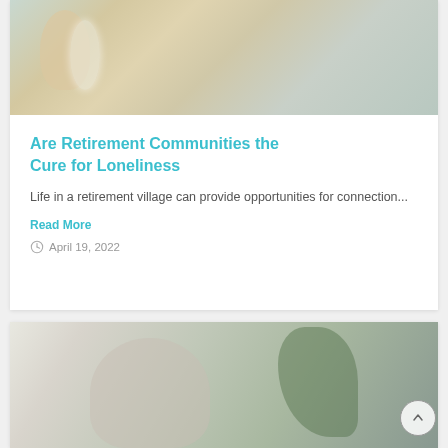[Figure (photo): Photo of elderly people dining at a table with wine glasses, plates of food, on a bright day]
Are Retirement Communities the Cure for Loneliness
Life in a retirement village can provide opportunities for connection...
Read More
April 19, 2022
[Figure (photo): Photo of an elderly woman with white hair looking down, with a green plant in background]